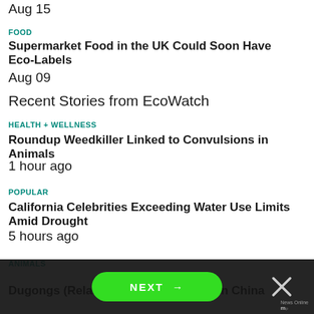Aug 15
FOOD
Supermarket Food in the UK Could Soon Have Eco-Labels
Aug 09
Recent Stories from EcoWatch
HEALTH + WELLNESS
Roundup Weedkiller Linked to Convulsions in Animals
1 hour ago
POPULAR
California Celebrities Exceeding Water Use Limits Amid Drought
5 hours ago
ANIMALS
Dugongs (Relat… unctionally Extinct in China